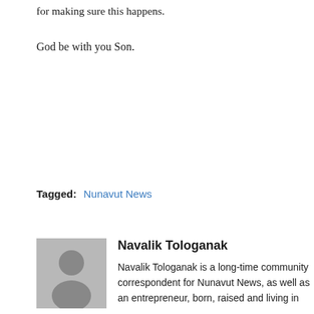for making sure this happens.
God be with you Son.
Tagged: Nunavut News
Navalik Tologanak
Navalik Tologanak is a long-time community correspondent for Nunavut News, as well as an entrepreneur, born, raised and living in